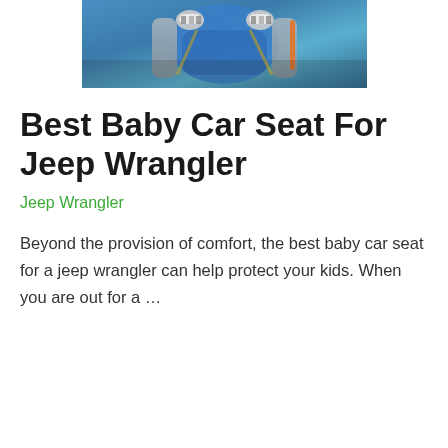[Figure (photo): Photo of a child in a car seat in a Jeep Wrangler, wearing blue clothes and patterned socks, viewed from above/side angle inside the vehicle.]
Best Baby Car Seat For Jeep Wrangler
Jeep Wrangler
Beyond the provision of comfort, the best baby car seat for a jeep wrangler can help protect your kids. When you are out for a …